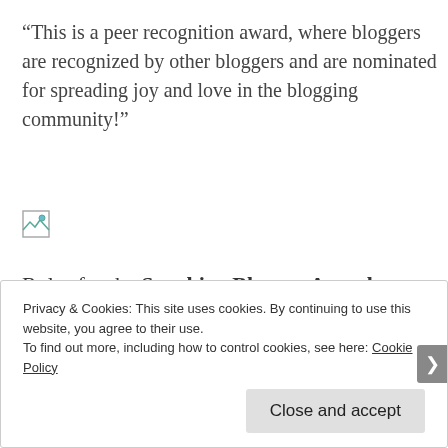“This is a peer recognition award, where bloggers are recognized by other bloggers and are nominated for spreading joy and love in the blogging community!”
[Figure (other): Broken image placeholder icon]
Rules for the Sunshine Blogger Award:
Privacy & Cookies: This site uses cookies. By continuing to use this website, you agree to their use.
To find out more, including how to control cookies, see here: Cookie Policy
Close and accept